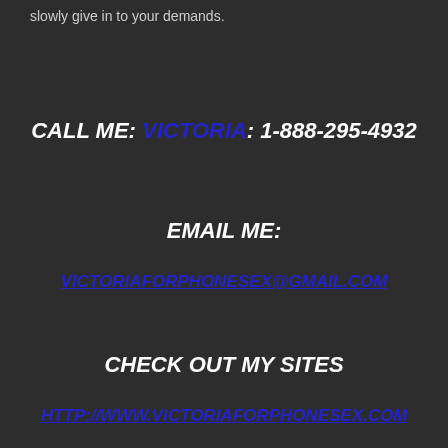slowly give in to your demands.
CALL ME: VICTORIA: 1-888-295-4932
EMAIL ME:
VICTORIAFORPHONESEX@GMAIL.COM
CHECK OUT MY SITES
HTTP://WWW.VICTORIAFORPHONESEX.COM